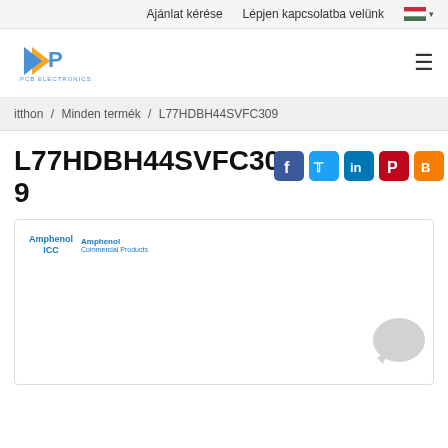Ajánlat kérése   Lépjen kapcsolatba velünk
[Figure (logo): PCB Electronics logo with blue and orange arrow/P icon]
itthon / Minden termék / L77HDBH44SVFC309
L77HDBH44SVFC309
[Figure (illustration): Social sharing icons: Facebook, Twitter, LinkedIn, Pinterest, Blogger]
[Figure (photo): Product image box showing Amphenol ICC and Amphenol Commercial Products logos, with a chat bubble icon in the lower right]